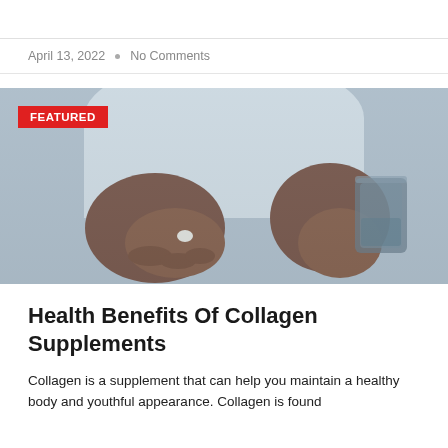April 13, 2022 • No Comments
[Figure (photo): Person in white shirt holding a supplement pill in one hand and a glass of water in the other hand, with a red FEATURED badge overlay in the top left corner.]
Health Benefits Of Collagen Supplements
Collagen is a supplement that can help you maintain a healthy body and youthful appearance. Collagen is found